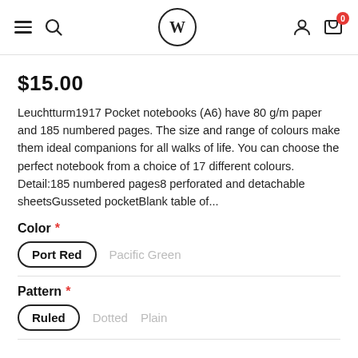Navigation bar with hamburger menu, search icon, W logo, user icon, cart (0)
$15.00
Leuchtturm1917 Pocket notebooks (A6) have 80 g/m paper and 185 numbered pages. The size and range of colours make them ideal companions for all walks of life. You can choose the perfect notebook from a choice of 17 different colours. Detail:185 numbered pages8 perforated and detachable sheetsGusseted pocketBlank table of...
Color *
Port Red (selected), Pacific Green
Pattern *
Ruled (selected), Dotted, Plain